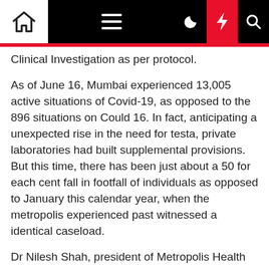[Navigation bar with home, menu, moon, lightning, and search icons]
being recorded on the part of the Indian Council of Clinical Investigation as per protocol.
As of June 16, Mumbai experienced 13,005 active situations of Covid-19, as opposed to the 896 situations on Could 16. In fact, anticipating a unexpected rise in the need for testa, private laboratories had built supplemental provisions. But this time, there has been just about a 50 for each cent fall in footfall of individuals as opposed to January this calendar year, when the metropolis experienced past witnessed a identical caseload.
Dr Nilesh Shah, president of Metropolis Health care Ltd, reported, "We haven't witnessed any increase in demand for testing, whilst the latest positivity amount in our laboratory exams has elevated to 30 per cent."